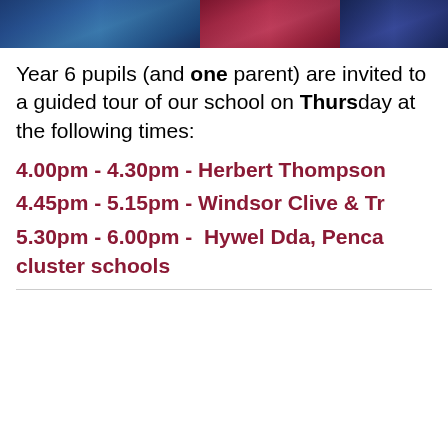[Figure (photo): Three cropped photos of school pupils/students shown in a horizontal strip at the top of the page]
Year 6 pupils (and one parent) are invited to a guided tour of our school on Thursday at the following times:
4.00pm - 4.30pm - Herbert Thompson
4.45pm - 5.15pm - Windsor Clive & Tr
5.30pm - 6.00pm - Hywel Dda, Penca cluster schools